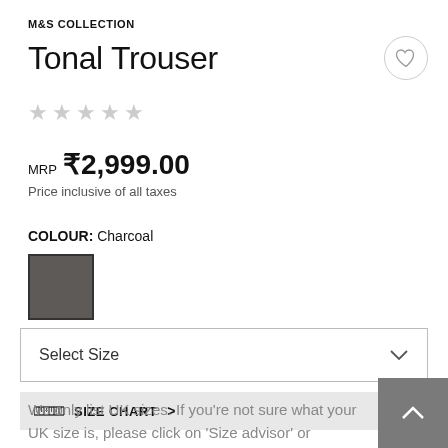M&S COLLECTION
Tonal Trouser
★★★★★ (empty stars rating)
MRP ₹2,999.00
Price inclusive of all taxes
COLOUR: Charcoal
[Figure (other): Charcoal colour swatch square]
Select Size
📏 SIZE CHART >
We only list UK sizes. If you're not sure what your UK size is, please click on 'Size advisor' or